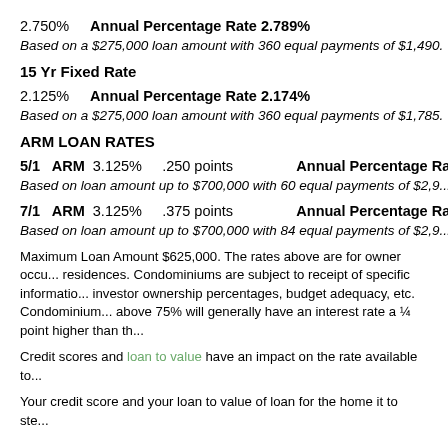2.750%    Annual Percentage Rate 2.789%
Based on a $275,000 loan amount with 360 equal payments of $1,490.
15 Yr Fixed Rate
2.125%    Annual Percentage Rate 2.174%
Based on a $275,000 loan amount with 360 equal payments of $1,785.
ARM LOAN RATES
5/1  ARM  3.125%    .250 points    Annual Percentage Rate 3.484%
Based on loan amount up to $700,000 with 60 equal payments of $2,9...
7/1  ARM  3.125%    .375 points    Annual Percentage Rate 3.437%
Based on loan amount up to $700,000 with 84 equal payments of $2,9...
Maximum Loan Amount $625,000. The rates above are for owner occu... residences. Condominiums are subject to receipt of specific informatio... investor ownership percentages, budget adequacy, etc. Condominium... above 75% will generally have an interest rate a ¼ point higher than th...
Credit scores and loan to value have an impact on the rate available to...
Your credit score and your loan to value of loan for the home it to ste...